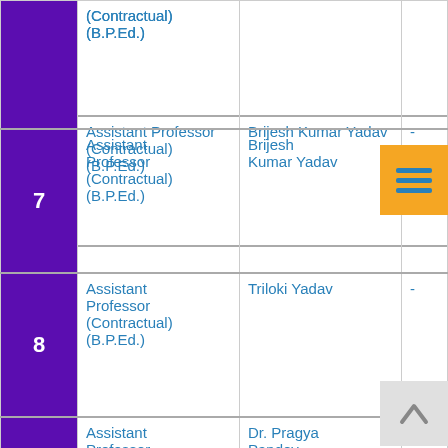| # | Position | Name | Extra |
| --- | --- | --- | --- |
|  | (Contractual)
(B.P.Ed.) |  |  |
| 7 | Assistant Professor (Contractual) (B.P.Ed.) | Brijesh Kumar Yadav | - |
| 8 | Assistant Professor (Contractual) (B.P.Ed.) | Triloki Yadav | - |
| 9 | Assistant Professor (Contractual) (MSW) | Dr. Pragya Pandey | . |
| 10 | Assistant Professor | Mukesh Kumar Verma | - |